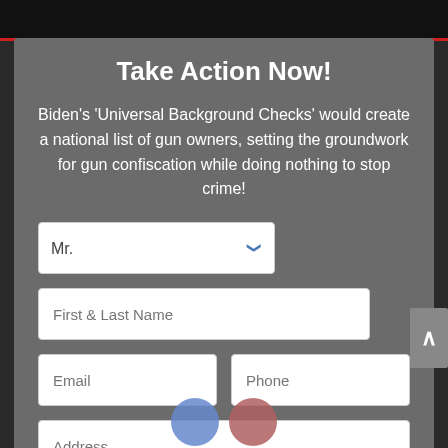Take Action Now!
Biden's 'Universal Background Checks' would create a national list of gun owners, setting the groundwork for gun confiscation while doing nothing to stop crime!